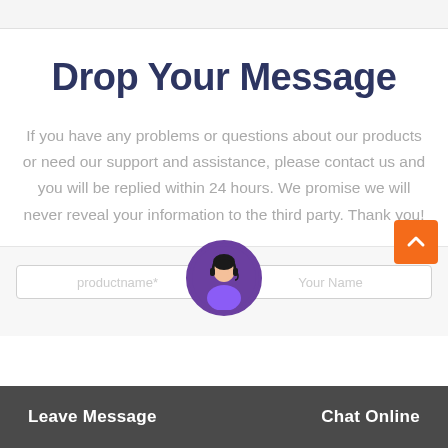Drop Your Message
If you have any problems or questions about our products or need our support and assistance, please contact us and you will be replied within 24 hours. We promise we will never reveal your information to the third party. Thank you!
[Figure (screenshot): Contact form section with input field placeholder 'productname*' and 'Your Name']
Leave Message   Chat Online